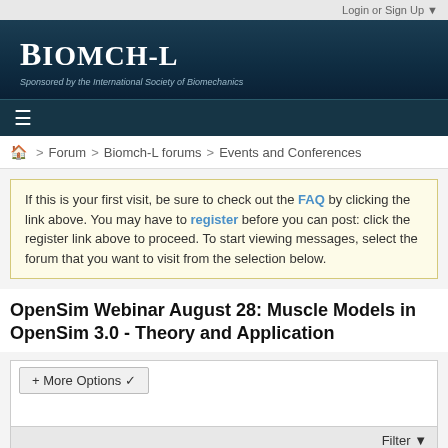Login or Sign Up ▼
[Figure (logo): Biomch-L site logo with text 'Biomch-L' and subtitle 'Sponsored by the International Society of Biomechanics']
≡
🏠 > Forum > Biomch-L forums > Events and Conferences
If this is your first visit, be sure to check out the FAQ by clicking the link above. You may have to register before you can post: click the register link above to proceed. To start viewing messages, select the forum that you want to visit from the selection below.
OpenSim Webinar August 28: Muscle Models in OpenSim 3.0 - Theory and Application
+ More Options ❯
Filter ▼